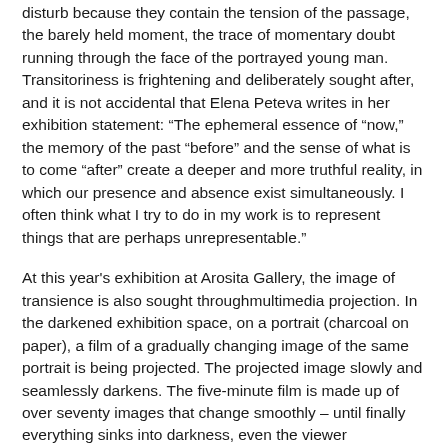disturb because they contain the tension of the passage, the barely held moment, the trace of momentary doubt running through the face of the portrayed young man. Transitoriness is frightening and deliberately sought after, and it is not accidental that Elena Peteva writes in her exhibition statement: “The ephemeral essence of “now,” the memory of the past “before” and the sense of what is to come “after” create a deeper and more truthful reality, in which our presence and absence exist simultaneously. I often think what I try to do in my work is to represent things that are perhaps unrepresentable.”
At this year’s exhibition at Arosita Gallery, the image of transience is also sought throughmultimedia projection. In the darkened exhibition space, on a portrait (charcoal on paper), a film of a gradually changing image of the same portrait is being projected. The projected image slowly and seamlessly darkens. The five-minute film is made up of over seventy images that change smoothly – until finally everything sinks into darkness, even the viewer herself/himself. Here the meaning of the work consists in the unification of the separate images – both material and digital, static and dynamic. The film (as temporal art) somehow naturally bears the idea of transience, contrasting with